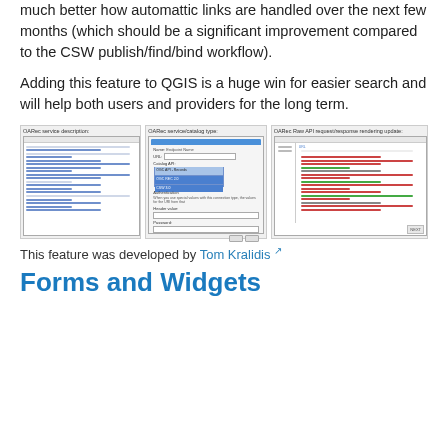much better how automattic links are handled over the next few months (which should be a significant improvement compared to the CSW publish/find/bind workflow).
Adding this feature to QGIS is a huge win for easier search and will help both users and providers for the long term.
[Figure (screenshot): Three screenshots side by side: OARec service description panel, OARec service/catalog type dialog, and OARec Raw API request/response rendering update panel.]
This feature was developed by Tom Kralidis
Forms and Widgets